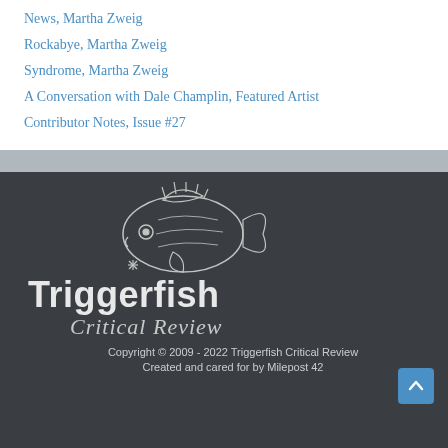News, Martha Zweig
Rockabye, Martha Zweig
Syndrome, Martha Zweig
A Conversation with Dale Champlin, Featured Artist
Contributor Notes, Issue #27
[Figure (logo): Triggerfish Critical Review logo — white line-art illustration of a triggerfish above stylized text reading 'Triggerfish Critical Review' in white on a dark gray background]
Copyright © 2009 - 2022 Triggerfish Critical Review
Created and cared for by Milepost 42